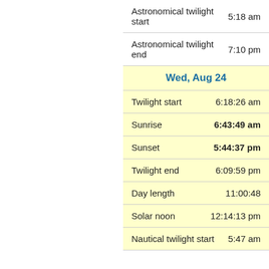| Event | Time |
| --- | --- |
| Astronomical twilight start | 5:18 am |
| Astronomical twilight end | 7:10 pm |
| Wed, Aug 24 |  |
| Twilight start | 6:18:26 am |
| Sunrise | 6:43:49 am |
| Sunset | 5:44:37 pm |
| Twilight end | 6:09:59 pm |
| Day length | 11:00:48 |
| Solar noon | 12:14:13 pm |
| Nautical twilight start | 5:47 am |